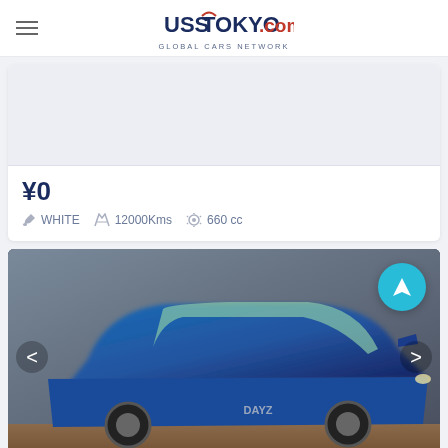UssTokyo.com GLOBAL CARS NETWORK
[Figure (other): Empty light gray image placeholder area]
¥0
WHITE  12000Kms  660 cc
[Figure (photo): Blue compact car (Nissan) photographed from a slight front-left angle in an auction lot. Navigation/arrow buttons on left and right sides. Teal circular button with location icon in top-right corner.]